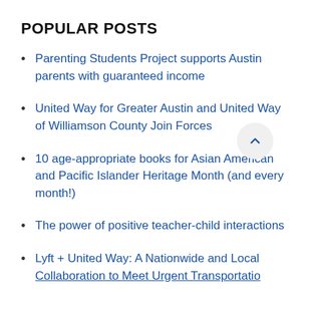POPULAR POSTS
Parenting Students Project supports Austin parents with guaranteed income
United Way for Greater Austin and United Way of Williamson County Join Forces
10 age-appropriate books for Asian American and Pacific Islander Heritage Month (and every month!)
The power of positive teacher-child interactions
Lyft + United Way: A Nationwide and Local Collaboration to Meet Urgent Transportation...